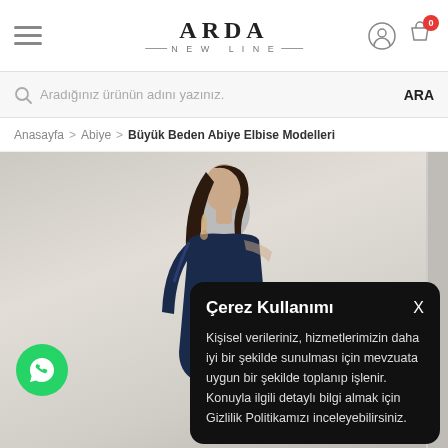ARDA NEW LINE
Aradığınız ürünün adını yazınız.   ARA
Anasayfa > Abiye > Büyük Beden Abiye Elbise Modelleri
[Figure (photo): Woman in dark navy abiye dress, side profile, long dark hair, decorative earrings, against light background]
Çerez Kullanımı
Kişisel verileriniz, hizmetlerimizin daha iyi bir şekilde sunulması için mevzuata uygun bir şekilde toplanıp işlenir. Konuyla ilgili detaylı bilgi almak için Gizlilik Politikamızı inceleyebilirsiniz.